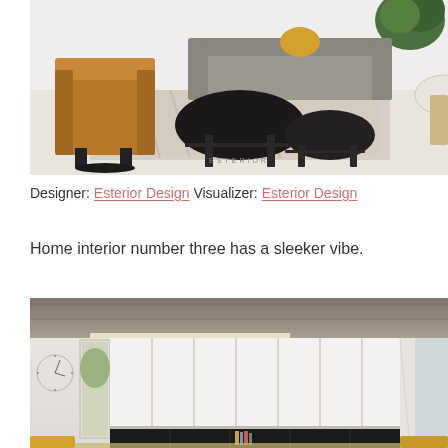[Figure (photo): Modern living room interior with golden armchair on left, gray sofa in background, black round coffee tables on a textured rug, green plant, and partial view of round side table on right. Watermark 'ESTERIOR' at bottom center.]
Designer: Esterior Design Visualizer: Esterior Design
Home interior number three has a sleeker vibe.
[Figure (photo): Modern home interior with concrete ceiling, large white floor-to-ceiling cabinets/wardrobe in center, black lower storage unit with shelves, white wall on left with window reflection, window with curtains on right, wall clock visible on left wall, and wooden floor elements at bottom.]